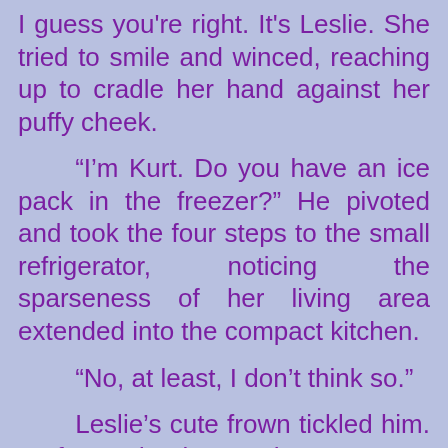I guess you're right. It's Leslie. She tried to smile and winced, reaching up to cradle her hand against her puffy cheek.

“I’m Kurt. Do you have an ice pack in the freezer?” He pivoted and took the four steps to the small refrigerator, noticing the sparseness of her living area extended into the compact kitchen.

“No, at least, I don’t think so.”

Leslie’s cute frown tickled him. As far as drunks go, she was pretty easy to tolerate and talk to. “Never mind, this